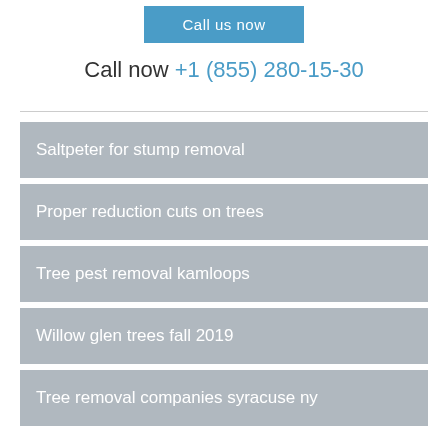[Figure (other): Blue 'Call us now' button]
Call now +1 (855) 280-15-30
Saltpeter for stump removal
Proper reduction cuts on trees
Tree pest removal kamloops
Willow glen trees fall 2019
Tree removal companies syracuse ny